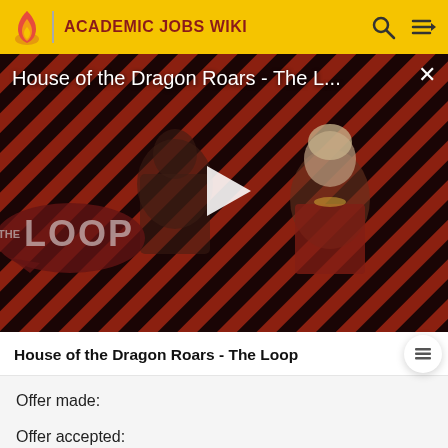ACADEMIC JOBS WIKI
[Figure (screenshot): Video thumbnail for 'House of the Dragon Roars - The L...' showing two characters against a red and black diagonal striped background with 'THE LOOP' text overlay and a play button in center]
House of the Dragon Roars - The Loop
Offer made:
Offer accepted: